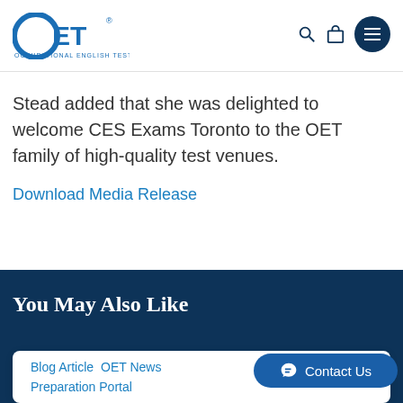[Figure (logo): OET (Occupational English Test) logo in blue, circular O with ET text and tagline below]
Stead added that she was delighted to welcome CES Exams Toronto to the OET family of high-quality test venues.
Download Media Release
You May Also Like
Blog Article   OET News
Preparation Portal